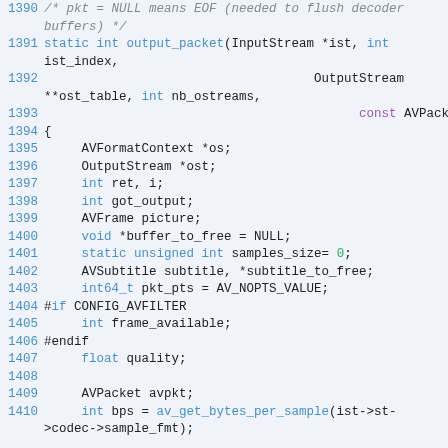[Figure (screenshot): Source code listing showing C function output_packet declaration and variable declarations, lines 1390-1410, with syntax highlighting: line numbers in blue, keywords in blue/purple, identifiers in black, on a light blue-grey background.]